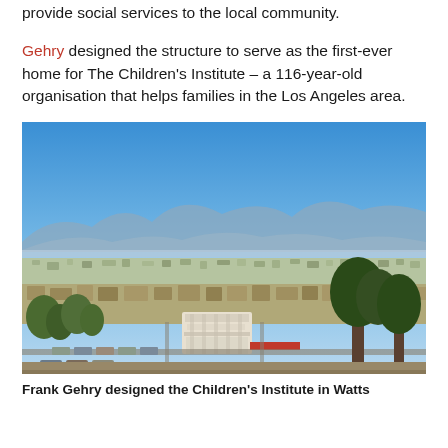provide social services to the local community.
Gehry designed the structure to serve as the first-ever home for The Children's Institute – a 116-year-old organisation that helps families in the Los Angeles area.
[Figure (photo): Aerial/elevated photograph showing a wide urban landscape of Watts, Los Angeles, California. The foreground shows a white building complex (Children's Institute) with surrounding streets, parked cars, and trees. The background shows a vast suburban sprawl with mountains in the far distance under a clear blue sky.]
Frank Gehry designed the Children's Institute in Watts